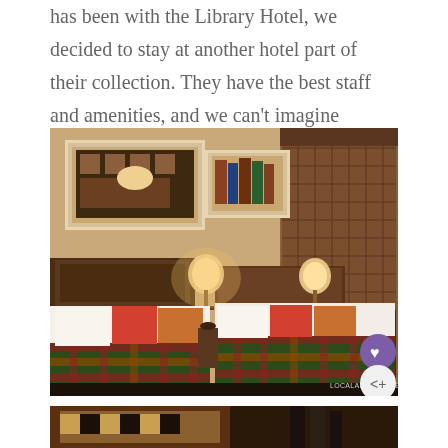has been with the Library Hotel, we decided to stay at another hotel part of their collection. They have the best staff and amenities, and we can't imagine staying anywhere else.
[Figure (photo): Hotel room with two beds covered in plaid bedspreads (dark green, red, orange tartan pattern), white pillows and red accent pillows, wooden headboards, bedside lamp, framed artwork on warm beige walls, wooden lattice screen/window on right side. Watermark: LOCALADVENTURER.COM. Heart and share buttons overlaid on bottom right.]
[Figure (photo): Partial view of another hotel room or detail, cropped at bottom of page, warm brown tones.]